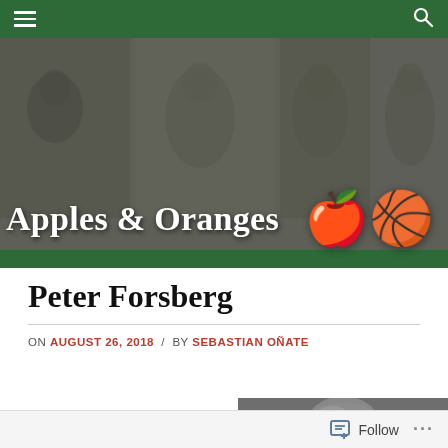Apples & Oranges
Peter Forsberg
ON AUGUST 26, 2018 / BY SEBASTIAN OÑATE
Hockey
[Figure (photo): Sports blog banner with vintage black and white photos of athletes, overlaid with colored apple and basketball emoji graphics]
[Figure (photo): Close-up photo of a hockey helmet/player, partially visible]
Follow ...